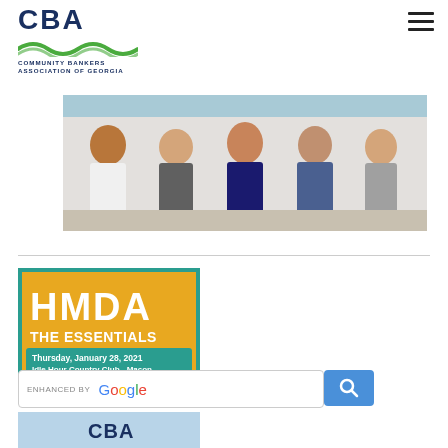[Figure (logo): CBA Community Bankers Association of Georgia logo with wave graphic]
[Figure (photo): Five business professionals sitting in a row against a white brick wall — diverse group including women and men in business attire]
[Figure (infographic): HMDA The Essentials event banner — teal and yellow colors, text: HMDA THE ESSENTIALS, Thursday, January 28, 2021, Idle Hour Country Club - Macon]
[Figure (other): Enhanced by Google search bar with blue search button]
[Figure (logo): CBA logo partial view at bottom]